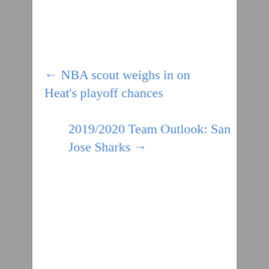← NBA scout weighs in on Heat's playoff chances
2019/2020 Team Outlook: San Jose Sharks →